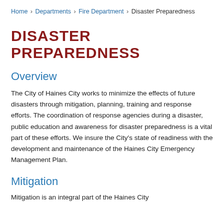Home › Departments › Fire Department › Disaster Preparedness
DISASTER PREPAREDNESS
Overview
The City of Haines City works to minimize the effects of future disasters through mitigation, planning, training and response efforts. The coordination of response agencies during a disaster, public education and awareness for disaster preparedness is a vital part of these efforts. We insure the City's state of readiness with the development and maintenance of the Haines City Emergency Management Plan.
Mitigation
Mitigation is an integral part of the Haines City